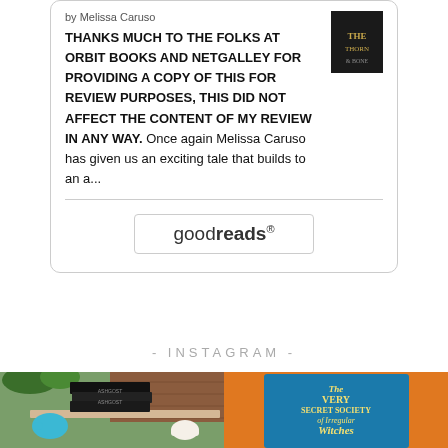by Melissa Caruso
THANKS MUCH TO THE FOLKS AT ORBIT BOOKS AND NETGALLEY FOR PROVIDING A COPY OF THIS FOR REVIEW PURPOSES, THIS DID NOT AFFECT THE CONTENT OF MY REVIEW IN ANY WAY. Once again Melissa Caruso has given us an exciting tale that builds to an a...
[Figure (logo): Goodreads logo button with rounded border]
- INSTAGRAM -
[Figure (photo): Stack of books on a table outdoors with a teapot and teacup, brick wall and plants in background]
[Figure (photo): Book cover of 'The Very Secret Society of Irregular Witches' on an orange fabric background]